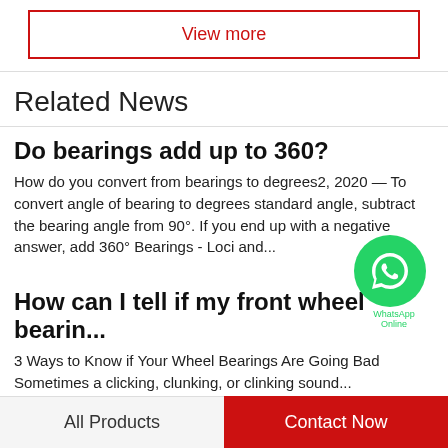View more
Related News
Do bearings add up to 360?
How do you convert from bearings to degrees?2, 2020 — To convert angle of bearing to degrees standard angle, subtract the bearing angle from 90°. If you end up with a negative answer, add 360° Bearings - Loci and...
How can I tell if my front wheel bearin...
3 Ways to Know if Your Wheel Bearings Are Going BadSometimes a clicking, clunking, or clinking sound...
All Products    Contact Now